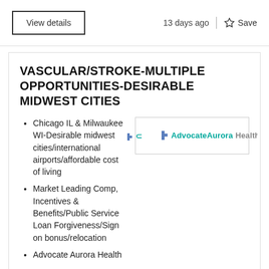View details
13 days ago
Save
VASCULAR/STROKE-MULTIPLE OPPORTUNITIES-DESIRABLE MIDWEST CITIES
Chicago IL & Milwaukee WI-Desirable midwest cities/international airports/affordable cost of living
[Figure (logo): Advocate Aurora Health logo with cross icons and teal text]
Market Leading Comp, Incentives & Benefits/Public Service Loan Forgiveness/Sign on bonus/relocation
Advocate Aurora Health
Financially stable health system*Public Service Loan Forgiveness*Supportive leadership*Competitive...